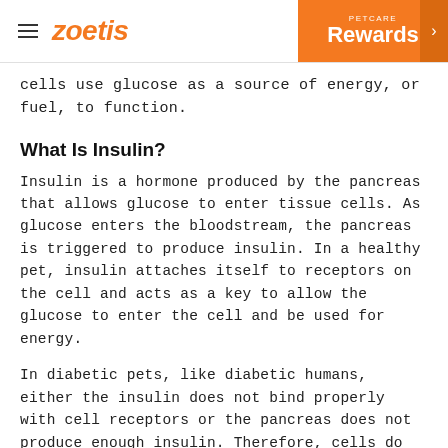zoetis | PETCARE Rewards
cells use glucose as a source of energy, or fuel, to function.
What Is Insulin?
Insulin is a hormone produced by the pancreas that allows glucose to enter tissue cells. As glucose enters the bloodstream, the pancreas is triggered to produce insulin. In a healthy pet, insulin attaches itself to receptors on the cell and acts as a key to allow the glucose to enter the cell and be used for energy.
In diabetic pets, like diabetic humans, either the insulin does not bind properly with cell receptors or the pancreas does not produce enough insulin. Therefore, cells do not respond to insulin properly, causing glucose to build up in the blood stream,